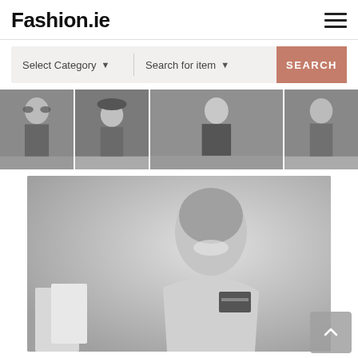Fashion.ie
[Figure (screenshot): Search bar with 'Select Category' dropdown, 'Search for item' dropdown, and a salmon/pink SEARCH button]
[Figure (photo): Gallery strip of four black and white fashion photos of women]
[Figure (photo): Large black and white hero photo of a smiling woman with shopping bags holding a credit card]